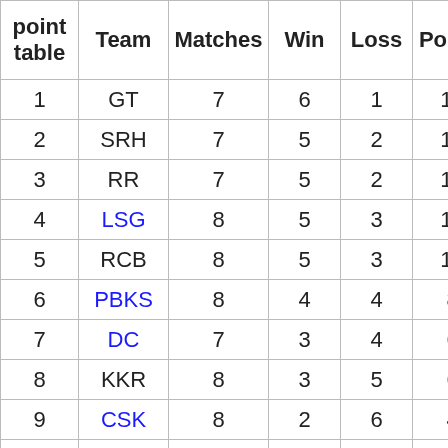| point table | Team | Matches | Win | Loss | Points | NRR |
| --- | --- | --- | --- | --- | --- | --- |
| 1 | GT | 7 | 6 | 1 | 12 | 0.396 |
| 2 | SRH | 7 | 5 | 2 | 10 | 0.692 |
| 3 | RR | 7 | 5 | 2 | 10 | 0.432 |
| 4 | LSG | 8 | 5 | 3 | 10 | 0.334 |
| 5 | RCB | 8 | 5 | 3 | 10 | -0.47 |
| 6 | PBKS | 8 | 4 | 4 | 8 | -0.41 |
| 7 | DC | 7 | 3 | 4 | 6 | 0.715 |
| 8 | KKR | 8 | 3 | 5 | 6 | 0.080 |
| 9 | CSK | 8 | 2 | 6 | 4 | -0.53 |
| 10 | MI | 8 | 0 | 8 | 0 | -1.00 |